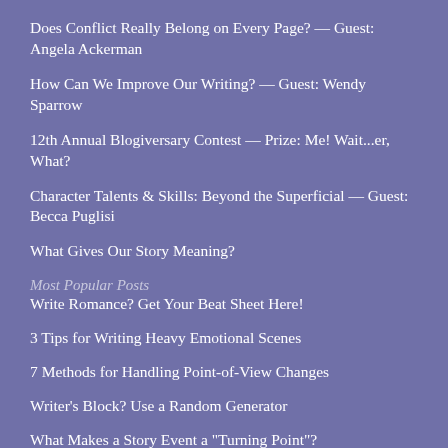Does Conflict Really Belong on Every Page? — Guest: Angela Ackerman
How Can We Improve Our Writing? — Guest: Wendy Sparrow
12th Annual Blogiversary Contest — Prize: Me! Wait...er, What?
Character Talents & Skills: Beyond the Superficial — Guest: Becca Puglisi
What Gives Our Story Meaning?
Most Popular Posts
Write Romance? Get Your Beat Sheet Here!
3 Tips for Writing Heavy Emotional Scenes
7 Methods for Handling Point-of-View Changes
Writer's Block? Use a Random Generator
What Makes a Story Event a "Turning Point"?